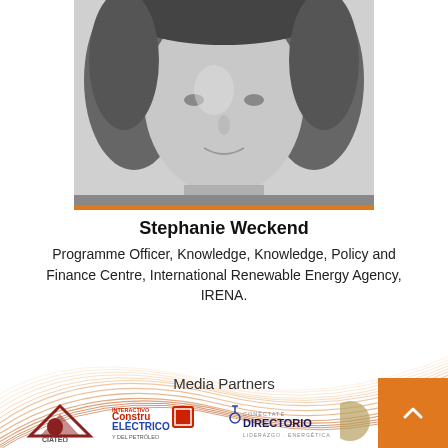[Figure (photo): Black and white portrait photo of Stephanie Weckend, cropped to show face and upper shoulders, with an orange horizontal bar below]
Stephanie Weckend
Programme Officer, Knowledge, Knowledge, Policy and Finance Centre, International Renewable Energy Agency, IRENA.
[Figure (illustration): Decorative orange/beige curved swirl lines on white background]
Media Partners
[Figure (logo): CIATEQ logo - triangular red/maroon shape with CIATEQ text below]
[Figure (logo): Interactivo Constru Electrico y del Petroleo logo]
[Figure (logo): Directorio Conectate logo - Liderazgo Energetica]
[Figure (logo): Partial logo at right edge, partially obscured by orange button]